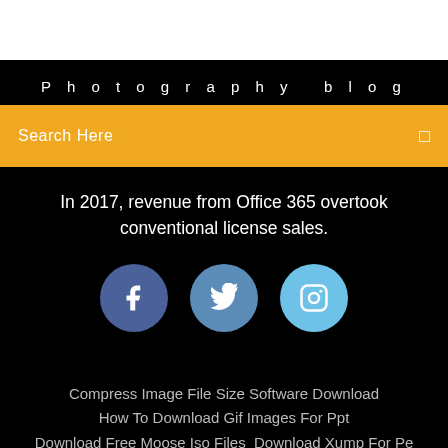Photography blog
Search Here
In 2017, revenue from Office 365 overtook conventional license sales.
[Figure (infographic): Three social media icons in circles: Facebook (dark blue), Twitter (medium blue), Instagram (light blue)]
Compress Image File Size Software Download
How To Download Gif Images For Ppt
Download Free Moose Iso Files Download Xump For Pe